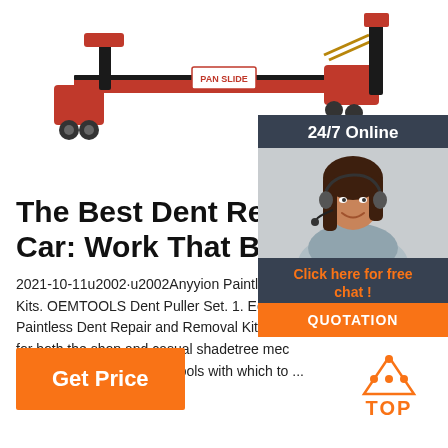[Figure (photo): Red automotive dent repair pulling tool/frame machine on white background]
[Figure (infographic): Chat widget with '24/7 Online' header, photo of woman with headset, 'Click here for free chat!' text, and orange QUOTATION button]
The Best Dent Repair Kits for Car: Work That Body ...
2021-10-11u2002·u2002Anyyion Paintless Dent Repair Kits. OEMTOOLS Dent Puller Set. 1. Editor's Paintless Dent Repair and Removal Kit. Billin for both the shop and casual shadetree mec comes with a boatload of tools with which to ...
[Figure (infographic): Orange 'Get Price' button]
[Figure (logo): TOP icon with orange dots triangle and orange text 'TOP']